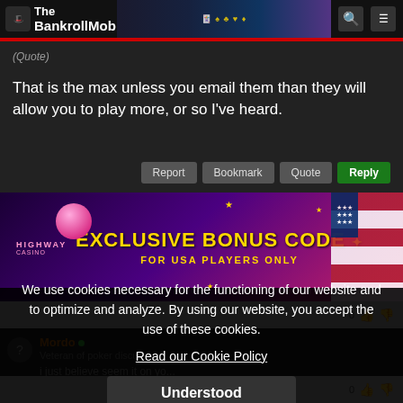The BankrollMob
(Quote)

That is the max unless you email them than they will allow you to play more, or so I've heard.
[Figure (screenshot): Highway Casino exclusive bonus code advertisement banner for USA players only]
Mordo • i just believe seem it on yo...
We use cookies necessary for the functioning of our website and to optimize and analyze. By using our website, you accept the use of these cookies.
Read our Cookie Policy
Understood